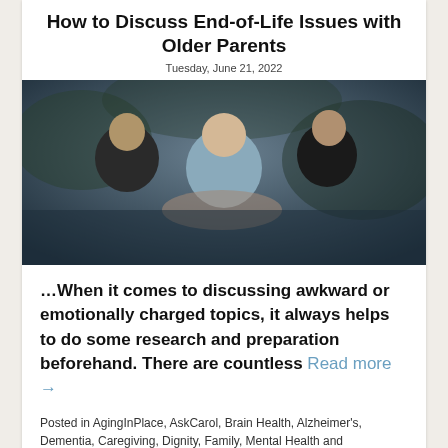How to Discuss End-of-Life Issues with Older Parents
Tuesday, June 21, 2022
[Figure (photo): Photo of elderly couple and younger woman, family group portrait outdoors]
…When it comes to discussing awkward or emotionally charged topics, it always helps to do some research and preparation beforehand. There are countless Read more →
Posted in AgingInPlace, AskCarol, Brain Health, Alzheimer's, Dementia, Caregiving, Dignity, Family, Mental Health and Depression, Reflections, Relationships, Support, Tips for Caregivers | 🔗 Permalink | 💬 Comments (0)